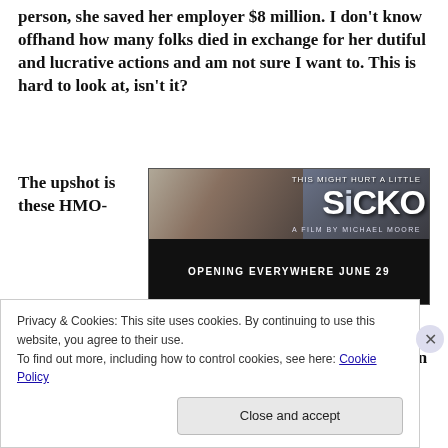person, she saved her employer $8 million. I don't know offhand how many folks died in exchange for her dutiful and lucrative actions and am not sure I want to. This is hard to look at, isn't it?
The upshot is these HMO-persons were rewarded for taking people's lives; and they are in no way untypical. Linda Peeno, the physician who testified before Congress, admitted as
[Figure (photo): Movie advertisement for 'SiCKO' - This Might Hurt A Little, A Film by Michael Moore, Opening Everywhere June 29]
Privacy & Cookies: This site uses cookies. By continuing to use this website, you agree to their use.
To find out more, including how to control cookies, see here: Cookie Policy
Close and accept